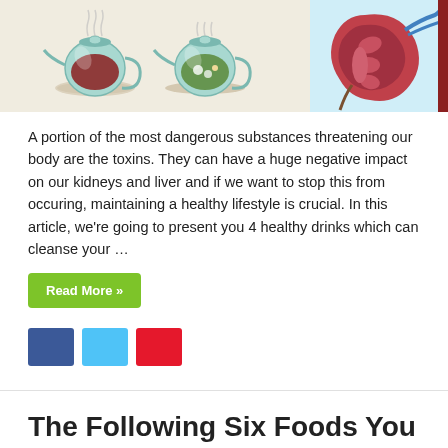[Figure (illustration): Illustration showing two glass teapots with herbal/cranberry tea and a diagram of a kidney with arteries]
A portion of the most dangerous substances threatening our body are the toxins. They can have a huge negative impact on our kidneys and liver and if we want to stop this from occuring, maintaining a healthy lifestyle is crucial. In this article, we're going to present you 4 healthy drinks which can cleanse your …
Read More »
[Figure (infographic): Social media sharing icons: Facebook (blue), Twitter (light blue), Pinterest (red)]
The Following Six Foods You Probably Consume Daily Are The Reason You Dont Have A Flat Stomach